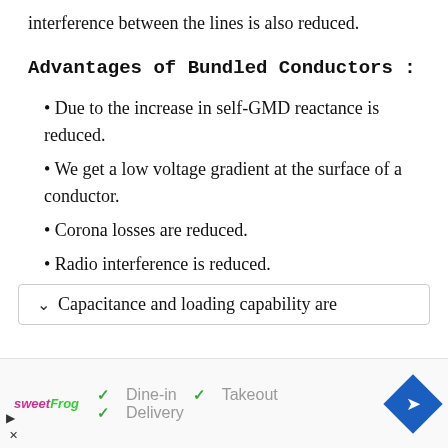interference between the lines is also reduced.
Advantages of Bundled Conductors :
Due to the increase in self-GMD reactance is reduced.
We get a low voltage gradient at the surface of a conductor.
Corona losses are reduced.
Radio interference is reduced.
Capacitance and loading capability are
✓ Dine-in  ✓ Takeout  ✓ Delivery